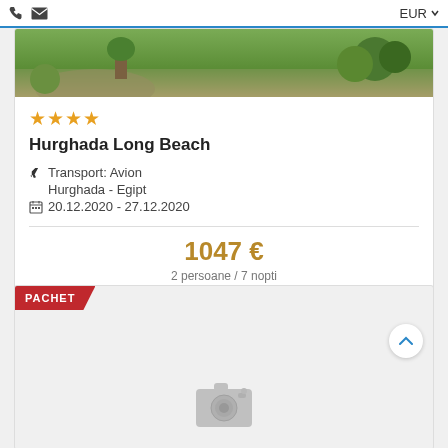EUR
[Figure (photo): Hotel outdoor garden/landscape photo showing green lawn and bushes]
★★★★
Hurghada Long Beach
✈ Transport: Avion
Hurghada - Egipt
📅 20.12.2020 - 27.12.2020
1047 €
2 persoane / 7 nopti
PACHET
[Figure (photo): Empty placeholder with camera icon on grey background]